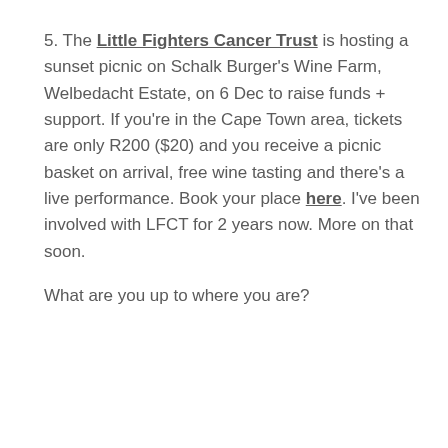5. The Little Fighters Cancer Trust is hosting a sunset picnic on Schalk Burger's Wine Farm, Welbedacht Estate, on 6 Dec to raise funds + support. If you're in the Cape Town area, tickets are only R200 ($20) and you receive a picnic basket on arrival, free wine tasting and there's a live performance. Book your place here. I've been involved with LFCT for 2 years now. More on that soon.
What are you up to where you are?